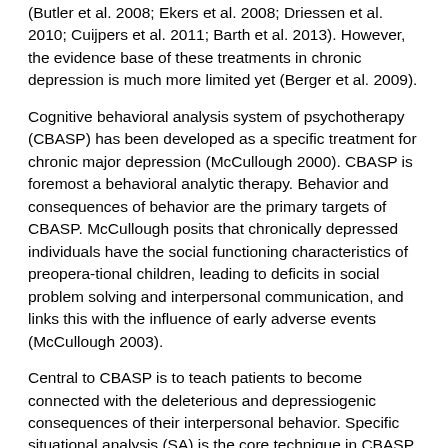(Butler et al. 2008; Ekers et al. 2008; Driessen et al. 2010; Cuijpers et al. 2011; Barth et al. 2013). However, the evidence base of these treatments in chronic depression is much more limited yet (Berger et al. 2009).
Cognitive behavioral analysis system of psychotherapy (CBASP) has been developed as a specific treatment for chronic major depression (McCullough 2000). CBASP is foremost a behavioral analytic therapy. Behavior and consequences of behavior are the primary targets of CBASP. McCullough posits that chronically depressed individuals have the social functioning characteristics of preopera-tional children, leading to deficits in social problem solving and interpersonal communication, and links this with the influence of early adverse events (McCullough 2003).
Central to CBASP is to teach patients to become connected with the deleterious and depressiogenic consequences of their interpersonal behavior. Specific situational analysis (SA) is the core technique in CBASP, recommended to occupy 80% of treatment time. Other techniques comprise conducting a